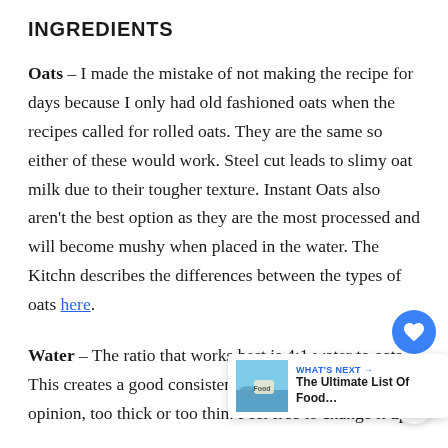INGREDIENTS
Oats – I made the mistake of not making the recipe for days because I only had old fashioned oats when the recipes called for rolled oats. They are the same so either of these would work. Steel cut leads to slimy oat milk due to their tougher texture. Instant Oats also aren't the best option as they are the most processed and will become mushy when placed in the water. The Kitchn describes the differences between the types of oats here.
Water – The ratio that works best is 4:1 water to oats. This creates a good consistency that's no opinion, too thick or too thin. Feel free to change it up